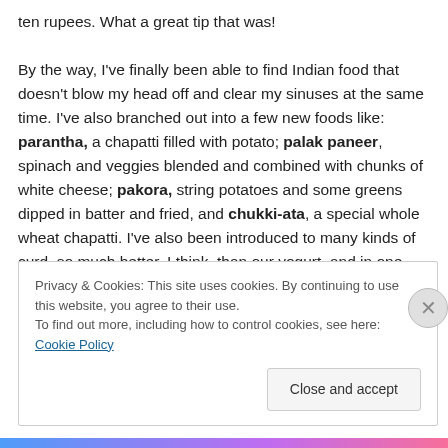ten rupees. What a great tip that was!

By the way, I've finally been able to find Indian food that doesn't blow my head off and clear my sinuses at the same time. I've also branched out into a few new foods like: parantha, a chapatti filled with potato; palak paneer, spinach and veggies blended and combined with chunks of white cheese; pakora, string potatoes and some greens dipped in batter and fried, and chukki-ata, a special whole wheat chapatti. I've also been introduced to many kinds of curd–so much better, I think, than our yogurt–and in one
Privacy & Cookies: This site uses cookies. By continuing to use this website, you agree to their use.
To find out more, including how to control cookies, see here: Cookie Policy